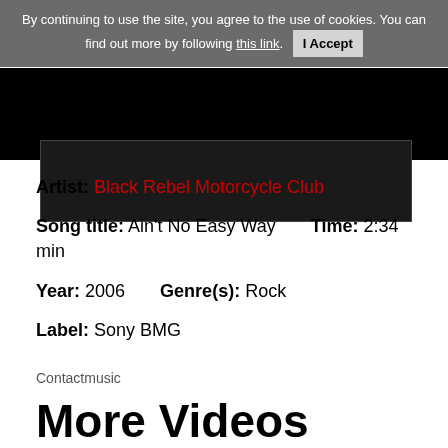By continuing to use the site, you agree to the use of cookies. You can find out more by following this link. I Accept
[Figure (screenshot): Dark/black video player bar with white border partial view]
Artist: Black Rebel Motorcycle Club
Song title: Ain't No Easy Way    Time: 2:34 min
Year: 2006    Genre(s): Rock
Label: Sony BMG
Contactmusic
More Videos